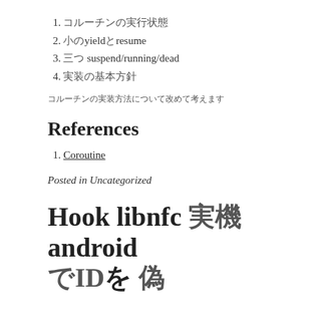1. コルーチンの実行状態
2. 小のyieldとresume
3. 三つ suspend/running/dead
4. 実装の基本方閇
コルーチンの実装方法について改めて考えます
References
1. Coroutine
Posted in Uncategorized
Hook libnfc 実機 android でIDを 偉